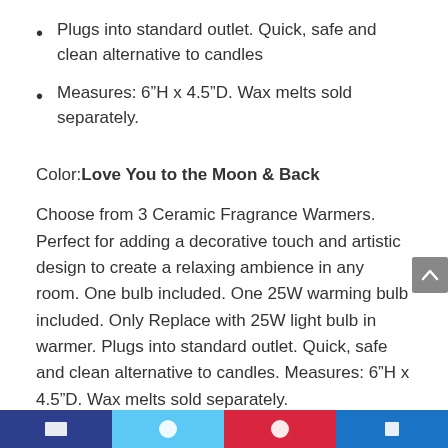Plugs into standard outlet. Quick, safe and clean alternative to candles
Measures: 6”H x 4.5”D. Wax melts sold separately.
Color: Love You to the Moon & Back
Choose from 3 Ceramic Fragrance Warmers. Perfect for adding a decorative touch and artistic design to create a relaxing ambience in any room. One bulb included. One 25W warming bulb included. Only Replace with 25W light bulb in warmer. Plugs into standard outlet. Quick, safe and clean alternative to candles. Measures: 6”H x 4.5”D. Wax melts sold separately.